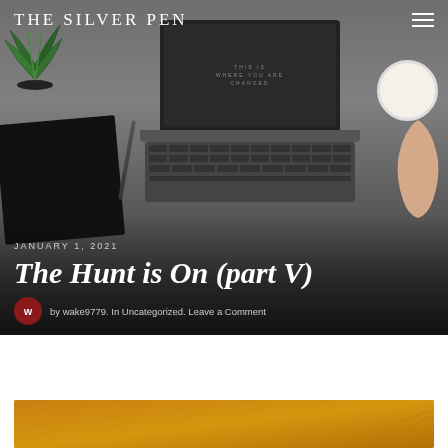THE SILVER PEN
JANUARY 1, 2021
The Hunt is On (part V)
by wake9779. In Uncategorized. Leave a Comment
[Figure (photo): Blog header image with laptop on desk, coffee cup, notebook, plant, against gray background]
[Figure (photo): Orange/gold toned partial image at bottom of page]